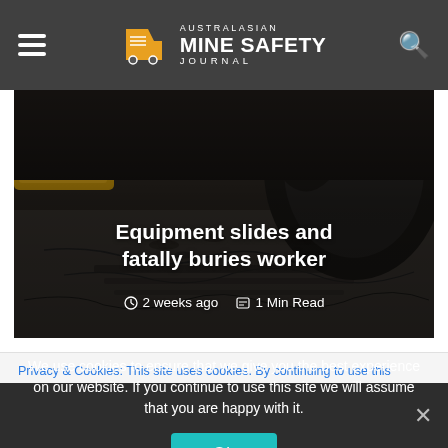Australasian Mine Safety Journal
[Figure (photo): Close-up photo of mining equipment tire/wheel on dark dirt/gravel ground]
Equipment slides and fatally buries worker
2 weeks ago  1 Min Read
Privacy & Cookies: This site uses cookies. By continuing to use this
We use cookies to ensure that we give you the best experience on our website. If you continue to use this site we will assume that you are happy with it.